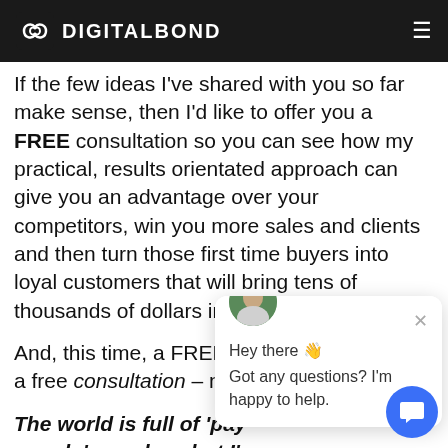DIGITALBOND
If the few ideas I've shared with you so far make sense, then I'd like to offer you a FREE consultation so you can see how my practical, results orientated approach can give you an advantage over your competitors, win you more sales and clients and then turn those first time buyers into loyal customers that will bring tens of thousands of dollars in lifetime value.
And, this time, a FREE c a free consultation – not
The world is full of 'pay can-do' people ... but I'r your free consultation I'll work with you to identify the very best strategy for you and your busine then show you exactly how to implement the st .